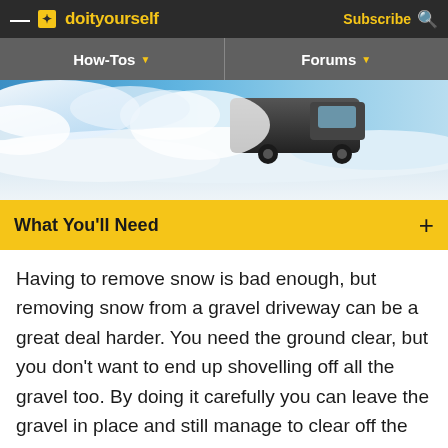doityourself — Subscribe
How-Tos ▼    Forums ▼
[Figure (photo): A truck or SUV driving through deep snow, with blue sky and snow spray visible]
What You'll Need   +
Having to remove snow is bad enough, but removing snow from a gravel driveway can be a great deal harder. You need the ground clear, but you don't want to end up shovelling off all the gravel too. By doing it carefully you can leave the gravel in place and still manage to clear off the snow so the driveway is safe for walking. Here are some techniques to try.